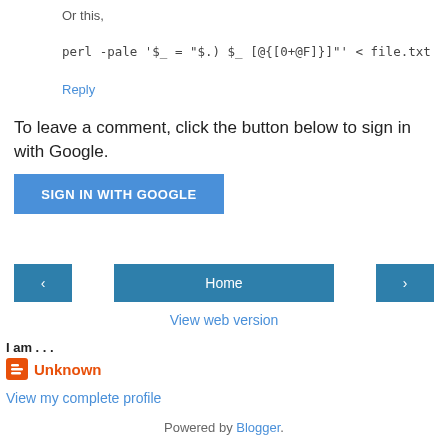Or this,
perl -pale '$_ = "$.) $_ [@{[0+@F]}]"' < file.txt
Reply
To leave a comment, click the button below to sign in with Google.
SIGN IN WITH GOOGLE
[Figure (other): Navigation row with back arrow button, Home button, and forward arrow button]
View web version
I am . . .
Unknown
View my complete profile
Powered by Blogger.